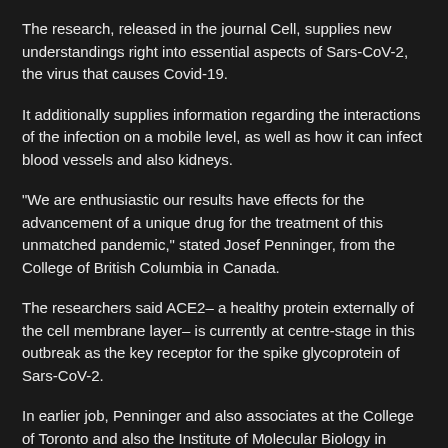The research, released in the journal Cell, supplies new understandings right into essential aspects of Sars-CoV-2, the virus that causes Covid-19.
It additionally supplies information regarding the interactions of the infection on a mobile level, as well as how it can infect blood vessels and also kidneys.
"We are enthusiastic our results have effects for the advancement of a unique drug for the treatment of this unmatched pandemic," stated Josef Penninger, from the College of British Columbia in Canada.
The researchers said ACE2– a healthy protein externally of the cell membrane layer– is currently at centre-stage in this outbreak as the key receptor for the spike glycoprotein of Sars-CoV-2.
In earlier job, Penninger and also associates at the College of Toronto and also the Institute of Molecular Biology in Austria found that in living